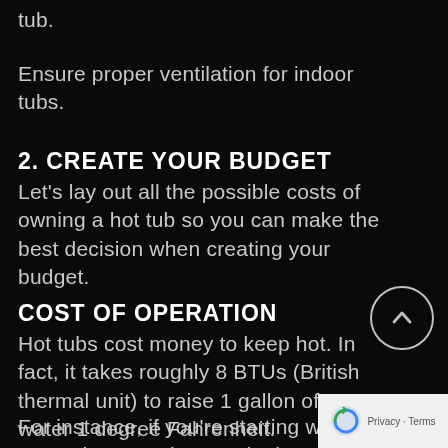tub.
Ensure proper ventilation for indoor tubs.
2. CREATE YOUR BUDGET
Let's lay out all the possible costs of owning a hot tub so you can make the best decision when creating your budget.
COST OF OPERATION
Hot tubs cost money to keep hot. In fact, it takes roughly 8 BTUs (British thermal unit) to raise 1 gallon of water 1 degree Fahrenheit.
For instance, if you're starting with fresh water that's 40 degrees in the